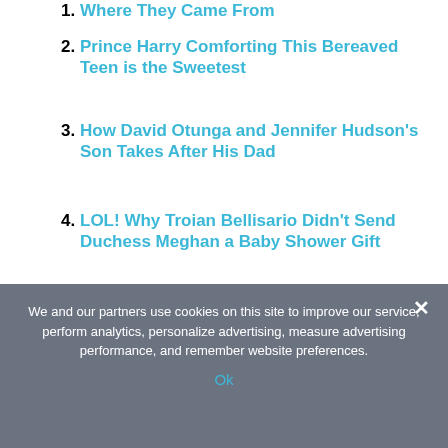1. Where They Came From
2. Prince Harry Comforting This Bereaved Teen is the Sweetest
3. How David Otunga and Jennifer Hudson's Son Takes After His Dad
4. LOL! Why Troian Bellisario Didn't Send Duchess Meghan a Baby Shower Gift
and   Child   Duchess   Harry   Here's   how   Meghan   Prince   Raise   Their   will
« Imaging technique finds differences between radiation-
We and our partners use cookies on this site to improve our service, perform analytics, personalize advertising, measure advertising performance, and remember website preferences.
Ok